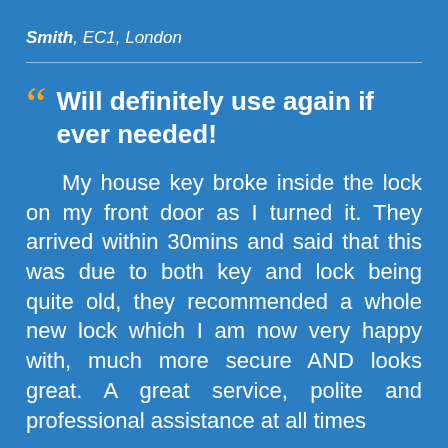Smith, EC1, London
Will definitely use again if ever needed!
My house key broke inside the lock on my front door as I turned it. They arrived within 30mins and said that this was due to both key and lock being quite old, they recommended a whole new lock which I am now very happy with, much more secure AND looks great. A great service, polite and professional assistance at all times